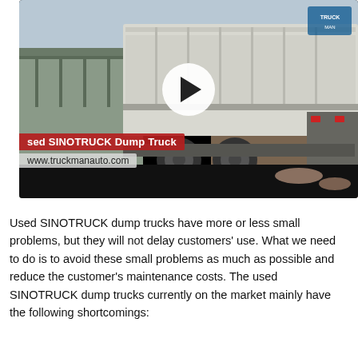[Figure (screenshot): Video thumbnail showing a used SINOTRUCK dump truck at a construction site. Overlay text reads 'Used SINOTRUCK Dump Truck' on a red banner, and 'www.truckmanauto.com' below. A play button circle is centered on the image. A logo appears in the top right corner. Black bar at bottom of video frame.]
Used SINOTRUCK dump trucks have more or less small problems, but they will not delay customers' use. What we need to do is to avoid these small problems as much as possible and reduce the customer's maintenance costs. The used SINOTRUCK dump trucks currently on the market mainly have the following shortcomings: